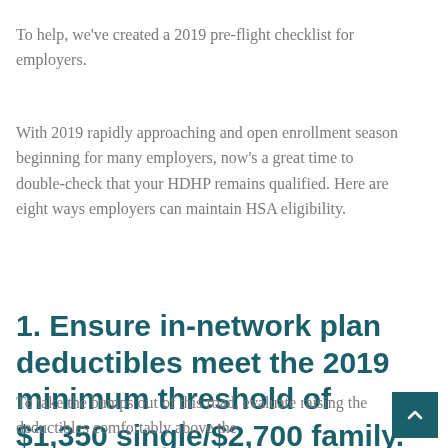To help, we've created a 2019 pre-flight checklist for employers.
With 2019 rapidly approaching and open enrollment season beginning for many employers, now's a great time to double-check that your HDHP remains qualified. Here are eight ways employers can maintain HSA eligibility.
1. Ensure in-network plan deductibles meet the 2019 minimum threshold of $1,350 single/$2,700 family.
To take the bumps out of this road, evaluate raising the deductibles comfortably above the